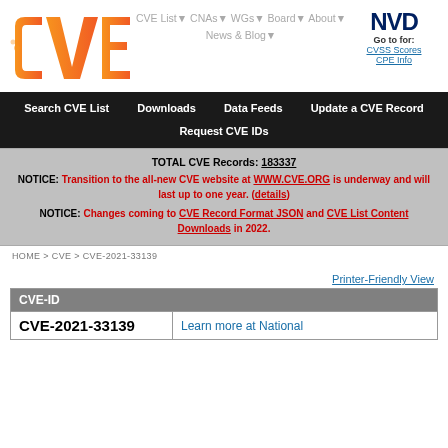[Figure (logo): CVE logo - orange gradient letters CVE]
CVE List▼
CNAs▼
WGs▼
Board▼
About▼
News & Blog▼
[Figure (logo): NVD logo - dark blue bold text NVD]
Go to for:
CVSS Scores
CPE Info
Search CVE List    Downloads    Data Feeds
Update a CVE Record    Request CVE IDs
TOTAL CVE Records: 183337
NOTICE: Transition to the all-new CVE website at WWW.CVE.ORG is underway and will last up to one year. (details)
NOTICE: Changes coming to CVE Record Format JSON and CVE List Content Downloads in 2022.
HOME > CVE > CVE-2021-33139
Printer-Friendly View
| CVE-ID |  |
| --- | --- |
| CVE-2021-33139 | Learn more at National |